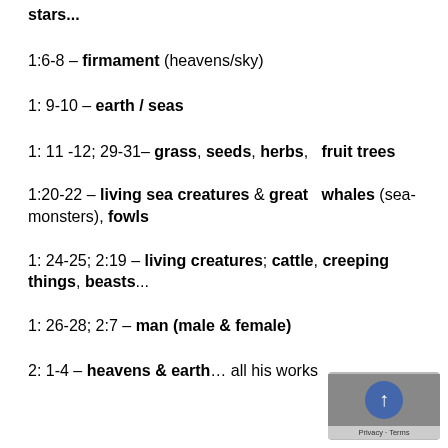stars...
1:6-8 – firmament (heavens/sky)
1: 9-10 – earth / seas
1: 11 -12; 29-31– grass, seeds, herbs,   fruit trees
1:20-22 – living sea creatures & great   whales (sea-monsters), fowls
1: 24-25; 2:19 – living creatures; cattle, creeping things, beasts...
1: 26-28; 2:7 – man (male & female)
2: 1-4 – heavens & earth… all his works